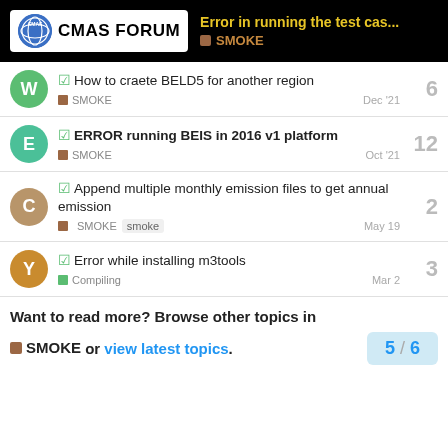CMAS FORUM — Error in running the test cas... — SMOKE
How to craete BELD5 for another region — SMOKE — Dec '21 — 6 replies
ERROR running BEIS in 2016 v1 platform — SMOKE — Oct '21 — 12 replies
Append multiple monthly emission files to get annual emission — SMOKE smoke — May 19 — 2 replies
Error while installing m3tools — Compiling — Mar 2 — 3 replies
Want to read more? Browse other topics in SMOKE or view latest topics. 5 / 6